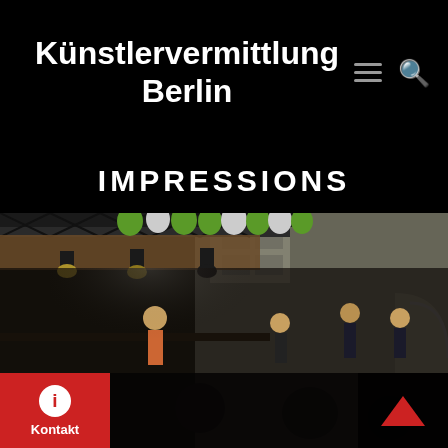Künstlervermittlung Berlin
IMPRESSIONS
[Figure (photo): Outdoor concert scene with a jazz band performing on a stage under a truss structure decorated with green and white balloons. A building is visible in the background. Multiple musicians playing instruments including guitar, double bass, trumpet, and saxophone.]
Kontakt